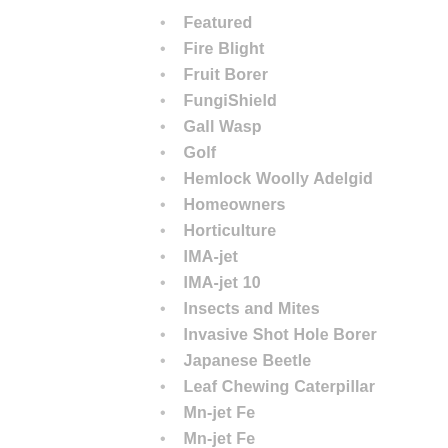Featured
Fire Blight
Fruit Borer
FungiShield
Gall Wasp
Golf
Hemlock Woolly Adelgid
Homeowners
Horticulture
IMA-jet
IMA-jet 10
Insects and Mites
Invasive Shot Hole Borer
Japanese Beetle
Leaf Chewing Caterpillar
Mn-jet Fe
Mn-jet Fe